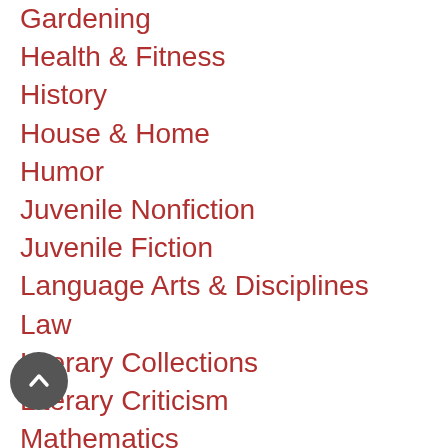Gardening
Health & Fitness
History
House & Home
Humor
Juvenile Nonfiction
Juvenile Fiction
Language Arts & Disciplines
Law
Literary Collections
Literary Criticism
Mathematics
Medical
Music
Nature
Non-classifiable
Body, Mind & Spirit
Performing Arts